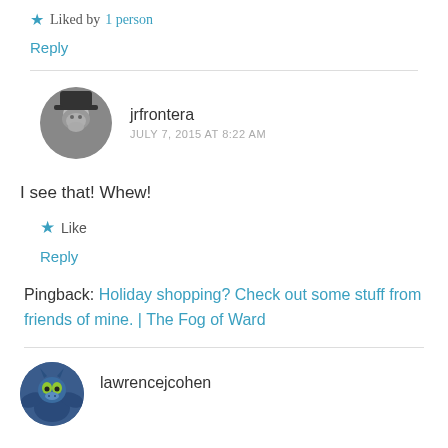★ Liked by 1 person
Reply
jrfrontera
JULY 7, 2015 AT 8:22 AM
I see that! Whew!
★ Like
Reply
Pingback: Holiday shopping? Check out some stuff from friends of mine. | The Fog of Ward
[Figure (photo): Avatar of lawrencejcohen - a cartoon monster/dragon character in blue and green]
lawrencejcohen